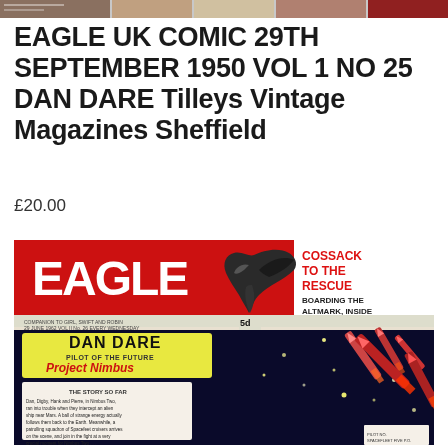[Figure (photo): Top strip showing partial images of other vintage comic covers in a row]
EAGLE UK COMIC 29TH SEPTEMBER 1950 VOL 1 NO 25 DAN DARE Tilleys Vintage Magazines Sheffield
£20.00
[Figure (photo): Scan of Eagle UK comic cover featuring 'EAGLE' in large white letters on red banner with eagle bird, 'COSSACK TO THE RESCUE', 'BOARDING THE ALTMARK, INSIDE', 'DAN DARE PILOT OF THE FUTURE Project Nimbus', price '5d', and story text panel at bottom left with rocket imagery]